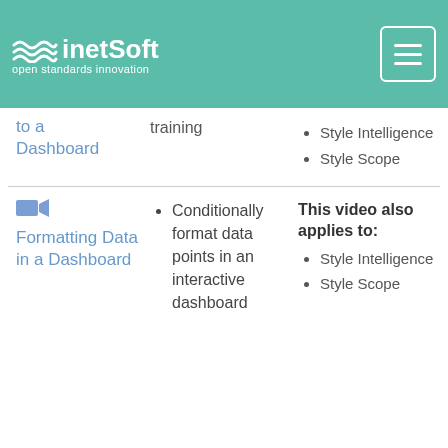InetSoft — open standards innovation
to a Dashboard
training
Style Intelligence
Style Scope
[Figure (illustration): Video camera icon]
Formatting Data in a Dashboard
Conditionally format data points in an interactive dashboard
This video also applies to:
Style Intelligence
Style Scope